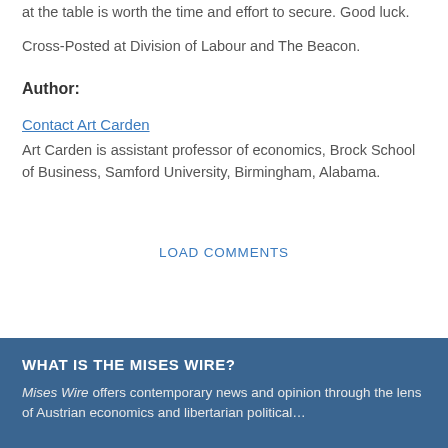at the table is worth the time and effort to secure. Good luck.
Cross-Posted at Division of Labour and The Beacon.
Author:
Contact Art Carden
Art Carden is assistant professor of economics, Brock School of Business, Samford University, Birmingham, Alabama.
LOAD COMMENTS
WHAT IS THE MISES WIRE?
Mises Wire offers contemporary news and opinion through the lens of Austrian economics and libertarian political…